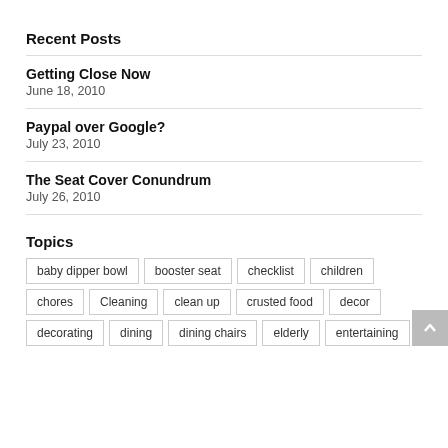Recent Posts
Getting Close Now
June 18, 2010
Paypal over Google?
July 23, 2010
The Seat Cover Conundrum
July 26, 2010
Topics
baby dipper bowl
booster seat
checklist
children
chores
Cleaning
clean up
crusted food
decor
decorating
dining
dining chairs
elderly
entertaining